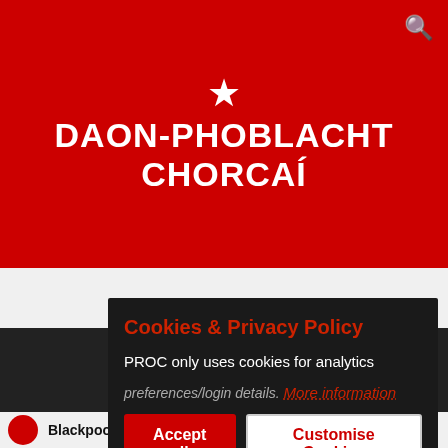[Figure (logo): Daon-Phoblacht Chorcaí website header with red background, white star icon, and white bold text logo]
Home  Forums  Tickets  Event Guide  Street Art  Articles
baile                                                      ilt
[Figure (screenshot): Cookie and Privacy Policy modal dialog overlay on dark background with Accept all and Customise Cookies buttons]
BlackpoolTerrier